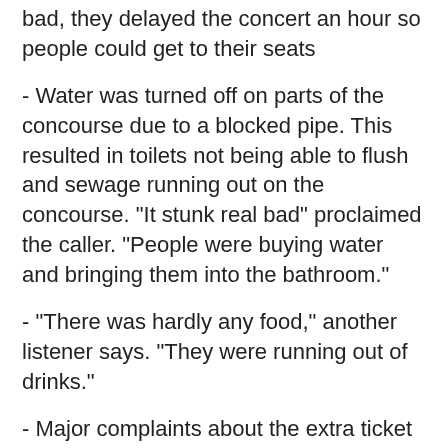bad, they delayed the concert an hour so people could get to their seats
- Water was turned off on parts of the concourse due to a blocked pipe. This resulted in toilets not being able to flush and sewage running out on the concourse. "It stunk real bad" proclaimed the caller. "People were buying water and bringing them into the bathroom."
- "There was hardly any food," another listener says. "They were running out of drinks."
- Major complaints about the extra ticket fees, specifically parking:
"EVERY SINGLE TICKET FOR THE PAUL MCCARTNEY CONCERT SOLD THRU TICKETMASTER INCLUDED A $10 PARKING FEE